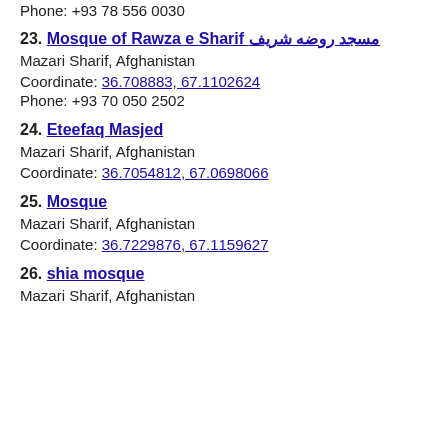Phone: +93 78 556 0030
23. Mosque of Rawza e Sharif مسجد روضه شریف
Mazari Sharif, Afghanistan
Coordinate: 36.708883, 67.1102624
Phone: +93 70 050 2502
24. Eteefaq Masjed
Mazari Sharif, Afghanistan
Coordinate: 36.7054812, 67.0698066
25. Mosque
Mazari Sharif, Afghanistan
Coordinate: 36.7229876, 67.1159627
26. shia mosque
Mazari Sharif, Afghanistan